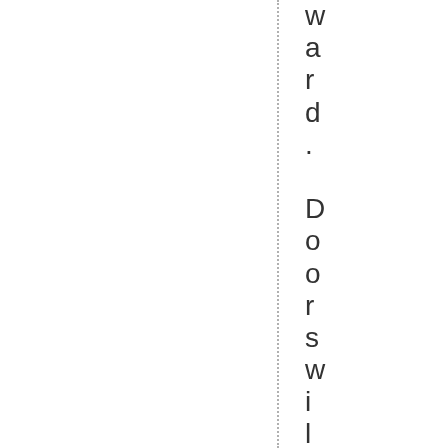ward. Doors will open at 5:30 p.m. T